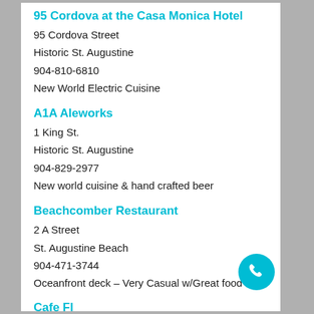95 Cordova at the Casa Monica Hotel
95 Cordova Street
Historic St. Augustine
904-810-6810
New World Electric Cuisine
A1A Aleworks
1 King St.
Historic St. Augustine
904-829-2977
New world cuisine & hand crafted beer
Beachcomber Restaurant
2 A Street
St. Augustine Beach
904-471-3744
Oceanfront deck – Very Casual w/Great food
Cafe Fl...